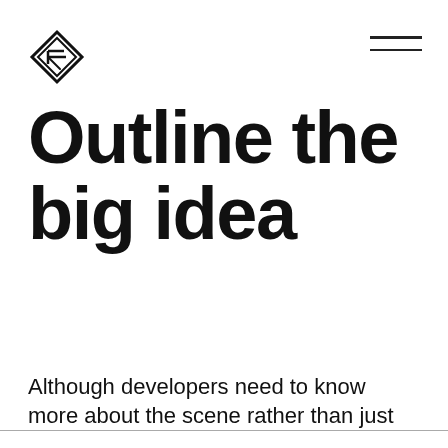[Figure (logo): Diamond-shaped geometric logo with stylized letter F or similar icon, black outline on white]
[Figure (other): Hamburger menu icon — two horizontal lines in the top right corner]
Outline the big idea
Although developers need to know more about the scene rather than just the creative idea
This website stores cookies on your computer. These cookies are used to collect information about how you interact with our website and allow us to remember you. We use this information in order to improve and customize your browsing experience and for analytics and metrics about our visitors both on this website and other media. To find out more about the cookies we use, see our Privacy Policy.
Okay